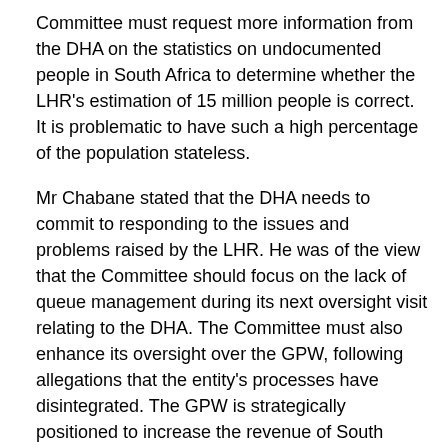Committee must request more information from the DHA on the statistics on undocumented people in South Africa to determine whether the LHR's estimation of 15 million people is correct. It is problematic to have such a high percentage of the population stateless.
Mr Chabane stated that the DHA needs to commit to responding to the issues and problems raised by the LHR. He was of the view that the Committee should focus on the lack of queue management during its next oversight visit relating to the DHA. The Committee must also enhance its oversight over the GPW, following allegations that the entity's processes have disintegrated. The GPW is strategically positioned to increase the revenue of South Africa if it can expand its business across the African Continent.
The Chairperson stated that the in the interest of time to ensure that the meeting finishes timeously, the DHA can respond to the majority of concerns and questions raised by Members in writing. The LHR should brief Parliament if it has received all the birth certificates for the 33 abandoned babies it applied for in 2019. If the matter has not been resolved, what are the DHA's challenges in resolving these issues?